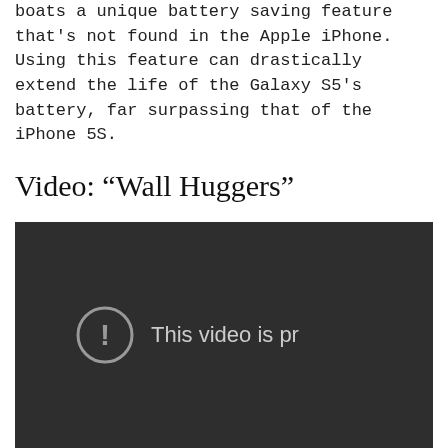boats a unique battery saving feature that's not found in the Apple iPhone. Using this feature can drastically extend the life of the Galaxy S5's battery, far surpassing that of the iPhone 5S.
Video: “Wall Huggers”
[Figure (screenshot): A dark video player screenshot showing an error icon (exclamation mark in a circle) and partial text 'This video is pr' indicating the video is private or unavailable.]